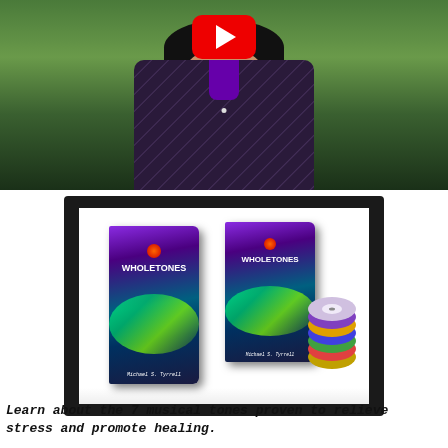[Figure (screenshot): Video thumbnail with YouTube play button overlaid on a person in a dark patterned shirt against a green outdoor background]
[Figure (photo): Wholetones book and CD set product image in a dark frame with white inner background. Shows a book titled WHOLETONES by Michael S. Tyrrell and a matching CD set with aurora borealis cover art.]
Learn about the 7 musical tones proven to relieve stress and promote healing.